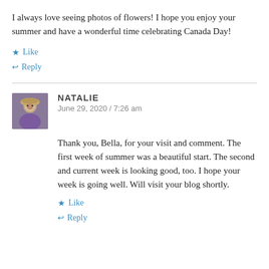I always love seeing photos of flowers! I hope you enjoy your summer and have a wonderful time celebrating Canada Day!
Like
Reply
NATALIE
June 29, 2020 / 7:26 am
Thank you, Bella, for your visit and comment. The first week of summer was a beautiful start. The second and current week is looking good, too. I hope your week is going well. Will visit your blog shortly.
Like
Reply